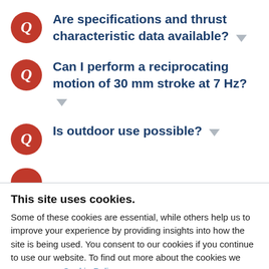Are specifications and thrust characteristic data available?
Can I perform a reciprocating motion of 30 mm stroke at 7 Hz?
Is outdoor use possible?
This site uses cookies.
Some of these cookies are essential, while others help us to improve your experience by providing insights into how the site is being used. You consent to our cookies if you continue to use our website. To find out more about the cookies we use, see our Cookie Policy.